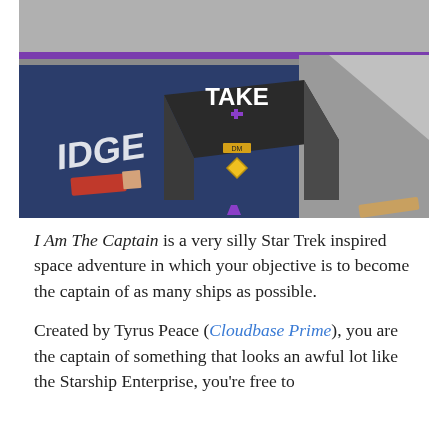[Figure (screenshot): A 3D game screenshot showing a dark box with 'TAKE' text and a purple plus icon on top, a yellow diamond icon in the center, blue floor with 'IDGE' text visible, gray walls with purple trim, and a red/tan object on the left.]
I Am The Captain is a very silly Star Trek inspired space adventure in which your objective is to become the captain of as many ships as possible.
Created by Tyrus Peace (Cloudbase Prime), you are the captain of something that looks an awful lot like the Starship Enterprise, you're free to